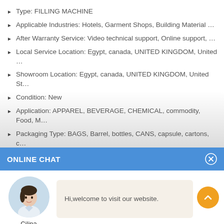Type: FILLING MACHINE
Applicable Industries: Hotels, Garment Shops, Building Material …
After Warranty Service: Video technical support, Online support, …
Local Service Location: Egypt, canada, UNITED KINGDOM, United …
Showroom Location: Egypt, canada, UNITED KINGDOM, United St…
Condition: New
Application: APPAREL, BEVERAGE, CHEMICAL, commodity, Food, M…
Packaging Type: BAGS, Barrel, bottles, CANS, capsule, cartons, c…
Packaging Material: glass, Metal, PAPER, wood
Automatic Grade: Automatic
Driven Type: Electric
Voltage: 220V
ONLINE CHAT
[Figure (illustration): Avatar of a woman named Cilina with a chat bubble saying Hi,welcome to visit our website.]
Hi,welcome to visit our website.
Cilina